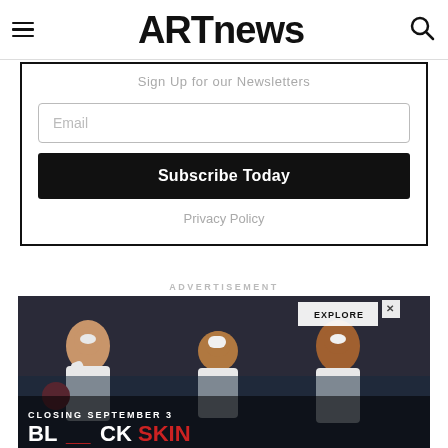ARTnews
Sign Up for our Newsletters
Email
Subscribe Today
Privacy Policy
ADVERTISEMENT
[Figure (photo): Advertisement image showing people in white clothing playing basketball, with overlay text 'CLOSING SEPTEMBER 3' and 'BLACK SKIN', with an EXPLORE button and close button.]